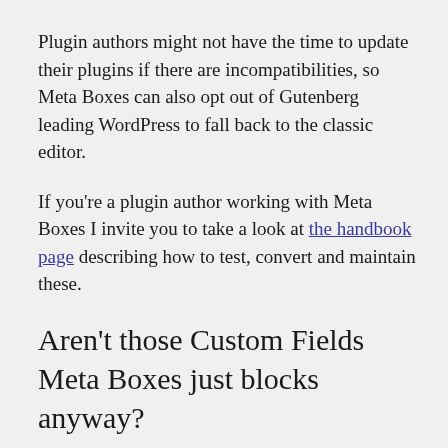Plugin authors might not have the time to update their plugins if there are incompatibilities, so Meta Boxes can also opt out of Gutenberg leading WordPress to fall back to the classic editor.
If you're a plugin author working with Meta Boxes I invite you to take a look at the handbook page describing how to test, convert and maintain these.
Aren't those Custom Fields Meta Boxes just blocks anyway?